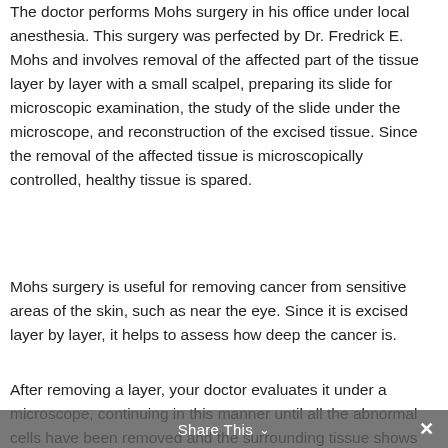The doctor performs Mohs surgery in his office under local anesthesia. This surgery was perfected by Dr. Fredrick E. Mohs and involves removal of the affected part of the tissue layer by layer with a small scalpel, preparing its slide for microscopic examination, the study of the slide under the microscope, and reconstruction of the excised tissue. Since the removal of the affected tissue is microscopically controlled, healthy tissue is spared.
Mohs surgery is useful for removing cancer from sensitive areas of the skin, such as near the eye. Since it is excised layer by layer, it helps to assess how deep the cancer is.
After removing a layer, your doctor evaluates it under a microscope, continuing in this manner until all the abnormal cells have been removed and the surrounding tissue shows no evidence of cancer.
Share This ∨  ✕